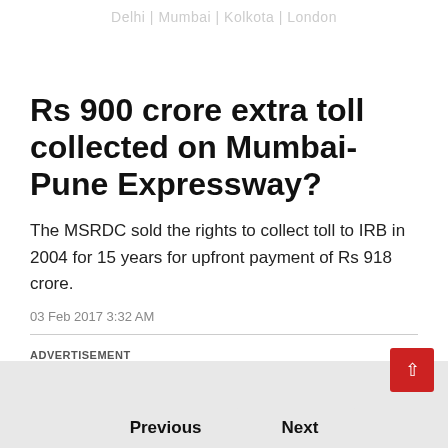Delhi | Mumbai | Kolkota | London
Rs 900 crore extra toll collected on Mumbai-Pune Expressway?
The MSRDC sold the rights to collect toll to IRB in 2004 for 15 years for upfront payment of Rs 918 crore.
03 Feb 2017 3:32 AM
ADVERTISEMENT